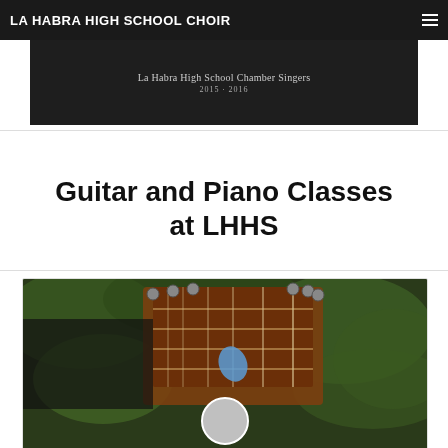LA HABRA HIGH SCHOOL CHOIR
[Figure (photo): Dark banner image for La Habra High School Chamber Singers 2015-2016]
Guitar and Piano Classes at LHHS
[Figure (photo): Close-up photo of a guitar headstock with tuning pegs and a pick, surrounded by green foliage. Below is a circular avatar/profile image placeholder.]